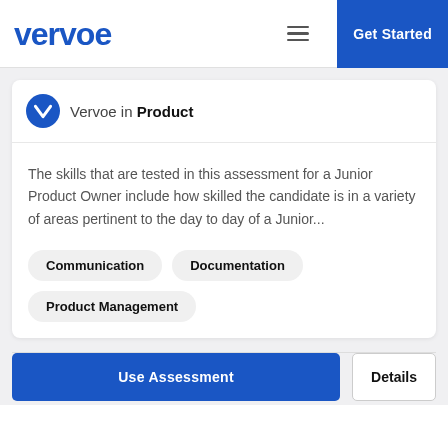vervoe  Get Started
Vervoe in Product
The skills that are tested in this assessment for a Junior Product Owner include how skilled the candidate is in a variety of areas pertinent to the day to day of a Junior...
Communication
Documentation
Product Management
Use Assessment
Details